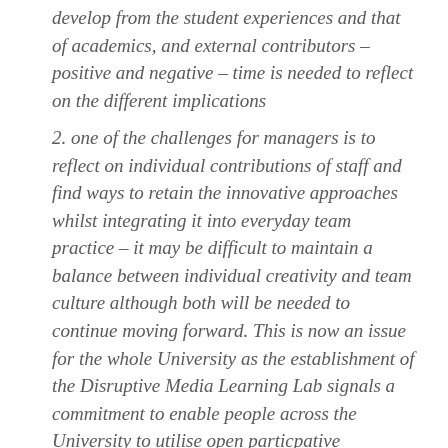develop from the student experiences and that of academics, and external contributors – positive and negative – time is needed to reflect on the different implications
2. one of the challenges for managers is to reflect on individual contributions of staff and find ways to retain the innovative approaches whilst integrating it into everyday team practice – it may be difficult to maintain a balance between individual creativity and team culture although both will be needed to continue moving forward. This is now an issue for the whole University as the establishment of the Disruptive Media Learning Lab signals a commitment to enable people across the University to utilise open particpative